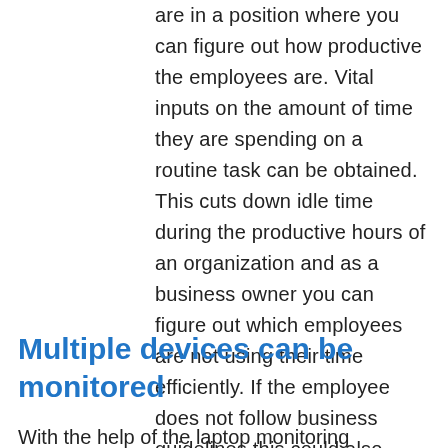are in a position where you can figure out how productive the employees are. Vital inputs on the amount of time they are spending on a routine task can be obtained. This cuts down idle time during the productive hours of an organization and as a business owner you can figure out which employees are not using their time efficiently. If the employee does not follow business guidelines this could also pave way for the grounds of termination.
Multiple devices can be monitored
With the help of the laptop monitoring